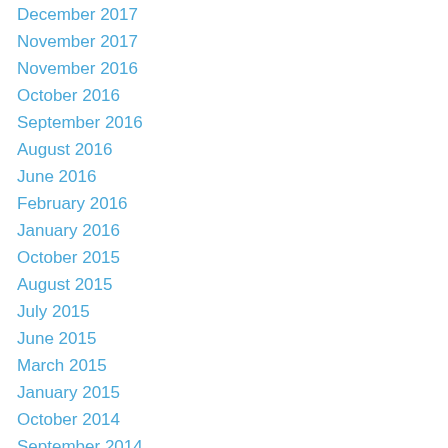December 2017
November 2017
November 2016
October 2016
September 2016
August 2016
June 2016
February 2016
January 2016
October 2015
August 2015
July 2015
June 2015
March 2015
January 2015
October 2014
September 2014
August 2014
July 2014
June 2014